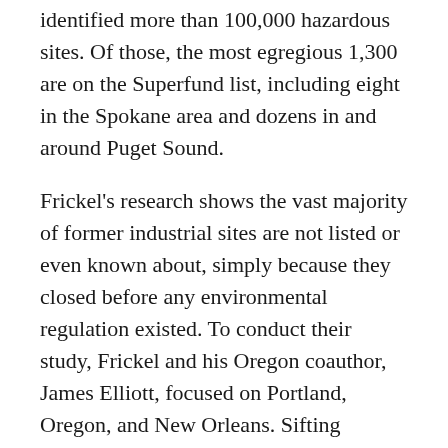identified more than 100,000 hazardous sites. Of those, the most egregious 1,300 are on the Superfund list, including eight in the Spokane area and dozens in and around Puget Sound.
Frickel's research shows the vast majority of former industrial sites are not listed or even known about, simply because they closed before any environmental regulation existed. To conduct their study, Frickel and his Oregon coauthor, James Elliott, focused on Portland, Oregon, and New Orleans. Sifting through the earliest available government data of industrial sites and state manufacturing directories, and visiting potential waste sites, they uncovered 215 historic sites of hazardous manufacturing in New Orleans, and 716 in Portland.
Their results are continuing to draw scrutiny from...